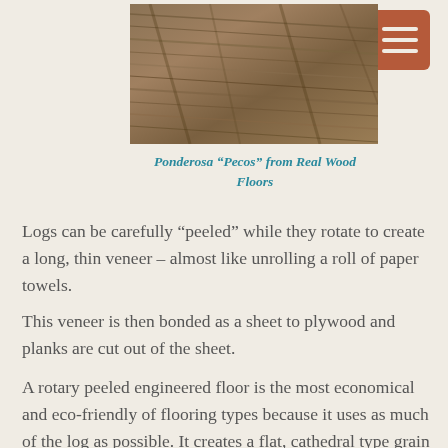[Figure (photo): Close-up photo of wood flooring showing grain pattern — Ponderosa Pecos from Real Wood Floors]
Ponderosa “Pecos” from Real Wood Floors
Logs can be carefully “peeled” while they rotate to create a long, thin veneer – almost like unrolling a roll of paper towels.
This veneer is then bonded as a sheet to plywood and planks are cut out of the sheet.
A rotary peeled engineered floor is the most economical and eco-friendly of flooring types because it uses as much of the log as possible. It creates a flat, cathedral type grain pattern, and